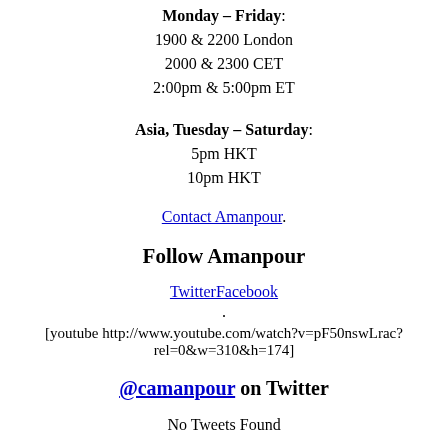Monday – Friday:
1900 & 2200 London
2000 & 2300 CET
2:00pm & 5:00pm ET
Asia, Tuesday – Saturday:
5pm HKT
10pm HKT
Contact Amanpour.
Follow Amanpour
TwitterFacebook
.
[youtube http://www.youtube.com/watch?v=pF50nswLrac?rel=0&w=310&h=174]
@camanpour on Twitter
No Tweets Found
RETWEET